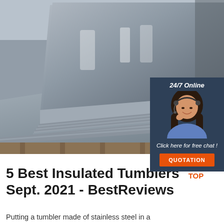[Figure (photo): A stack of shiny stainless steel sheets in a warehouse, with a 24/7 online customer service ad overlay on the right side showing a woman with a headset, text reading '24/7 Online', 'Click here for free chat!', and an orange 'QUOTATION' button.]
5 Best Insulated Tumblers - Sept. 2021 - BestReviews
Putting a tumbler made of stainless steel in a